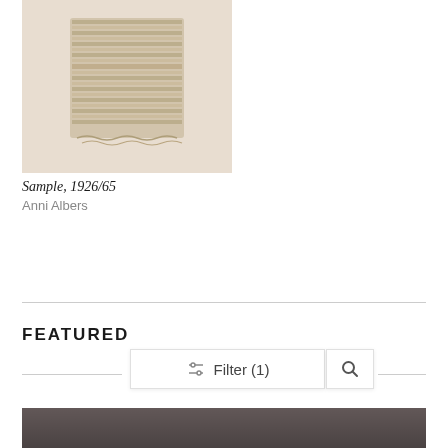[Figure (photo): A photograph of a woven textile sample on a beige background. The textile is a roughly rectangular piece of loosely woven fabric in a tan/khaki color.]
Sample, 1926/65
Anni Albers
FEATURED
Filter (1)
[Figure (photo): A dark-toned artwork image partially visible at the bottom of the page.]